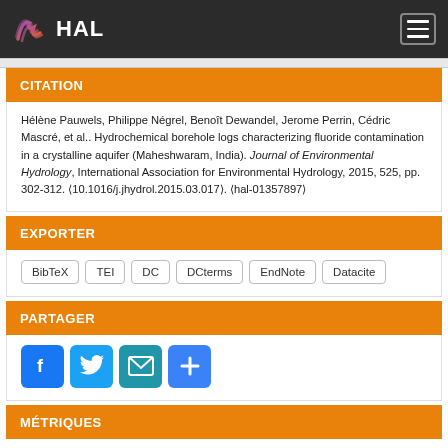HAL
CITATION
Hélène Pauwels, Philippe Négrel, Benoît Dewandel, Jerome Perrin, Cédric Mascré, et al.. Hydrochemical borehole logs characterizing fluoride contamination in a crystalline aquifer (Maheshwaram, India). Journal of Environmental Hydrology, International Association for Environmental Hydrology, 2015, 525, pp. 302-312. ⟨10.1016/j.jhydrol.2015.03.017⟩. ⟨hal-01357897⟩
EXPORTER
BibTeX
TEI
DC
DCterms
EndNote
Datacite
PARTAGER
[Figure (other): Social sharing buttons: Facebook, Twitter, Email, Plus]
MÉTRIQUES